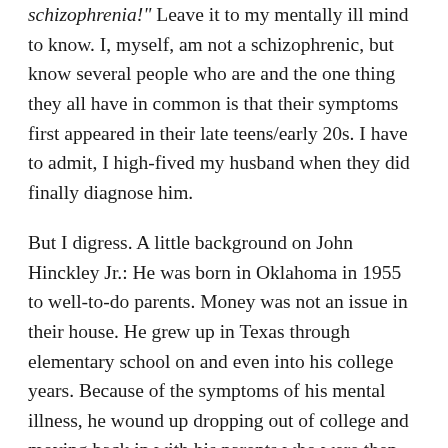schizophrenia!" Leave it to my mentally ill mind to know. I, myself, am not a schizophrenic, but know several people who are and the one thing they all have in common is that their symptoms first appeared in their late teens/early 20s. I have to admit, I high-fived my husband when they did finally diagnose him.
But I digress. A little background on John Hinckley Jr.: He was born in Oklahoma in 1955 to well-to-do parents. Money was not an issue in their house. He grew up in Texas through elementary school on and even into his college years. Because of the symptoms of his mental illness, he wound up dropping out of college and moving back in with his parents who were then living in Colorado.